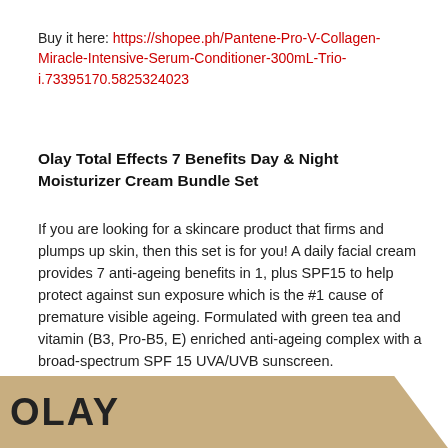Buy it here: https://shopee.ph/Pantene-Pro-V-Collagen-Miracle-Intensive-Serum-Conditioner-300mL-Trio-i.73395170.5825324023
Olay Total Effects 7 Benefits Day & Night Moisturizer Cream Bundle Set
If you are looking for a skincare product that firms and plumps up skin, then this set is for you! A daily facial cream provides 7 anti-ageing benefits in 1, plus SPF15 to help protect against sun exposure which is the #1 cause of premature visible ageing. Formulated with green tea and vitamin (B3, Pro-B5, E) enriched anti-ageing complex with a broad-spectrum SPF 15 UVA/UVB sunscreen.
[Figure (logo): Olay brand logo on a tan/gold banner at the bottom of the page]